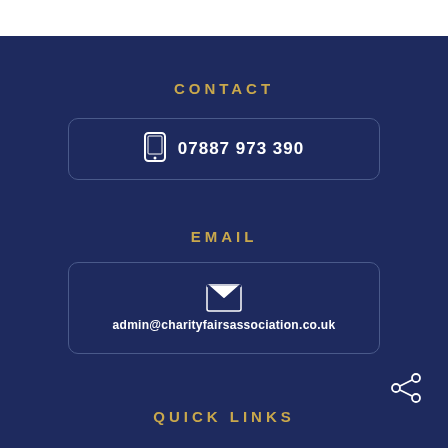CONTACT
07887 973 390
EMAIL
admin@charityfairsassociation.co.uk
QUICK LINKS